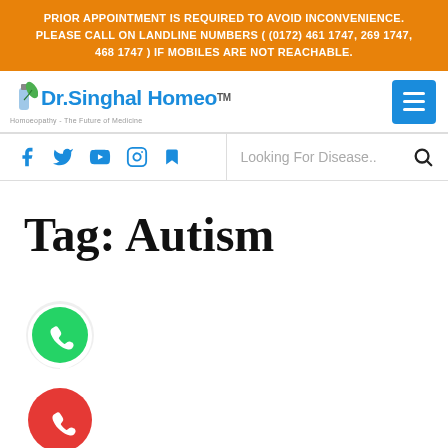PRIOR APPOINTMENT IS REQUIRED TO AVOID INCONVENIENCE. PLEASE CALL ON LANDLINE NUMBERS ( (0172) 461 1747, 269 1747, 468 1747 ) IF MOBILES ARE NOT REACHABLE.
[Figure (logo): Dr.Singhal Homeo logo with a bottle and leaf icon, subtitle: Homoeopathy - The Future of Medicine, with TM mark]
[Figure (screenshot): Blue hamburger menu button (three horizontal white lines on blue background)]
[Figure (screenshot): Social media icons: Facebook, Twitter, YouTube, Instagram, and a document/bookmark icon in blue]
Looking For Disease..
Tag: Autism
[Figure (logo): WhatsApp icon: green circle with white phone handset and speech bubble]
[Figure (logo): Phone call icon: red circle with white phone handset]